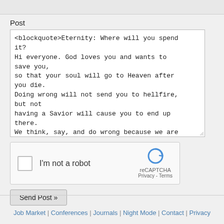Post
<blockquote>Eternity: Where will you spend it?
Hi everyone. God loves you and wants to save you,
so that your soul will go to Heaven after you die.
Doing wrong will not send you to hellfire, but not
having a Savior will cause you to end up there.
We think, say, and do wrong because we are
[Figure (other): reCAPTCHA widget with checkbox labeled 'I'm not a robot' and reCAPTCHA logo]
Send Post »
Job Market | Conferences | Journals | Night Mode | Contact | Privacy